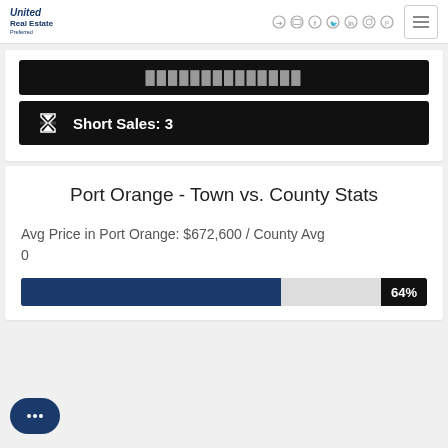[Figure (logo): United Real Estate Preferred logo]
Short Sales: 3
Port Orange - Town vs. County Stats
Avg Price in Port Orange: $672,600 / County Avg 0
[Figure (infographic): Progress bar showing 64%]